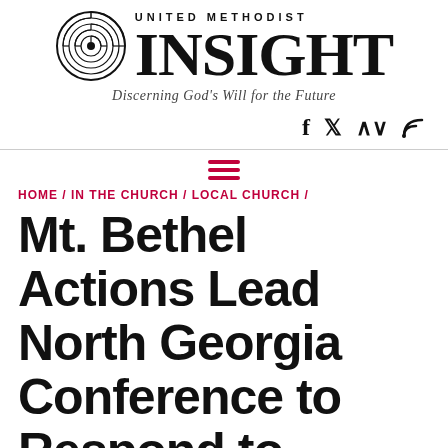[Figure (logo): United Methodist Insight logo with circular labyrinth icon and large serif INSIGHT text, tagline: Discerning God's Will for the Future]
[Figure (infographic): Social media icons: Facebook (f), Twitter (bird), RSS feed]
[Figure (infographic): Hamburger menu icon (three horizontal red lines)]
HOME / IN THE CHURCH / LOCAL CHURCH /
Mt. Bethel Actions Lead North Georgia Conference to Respond to Exigent Circumstances